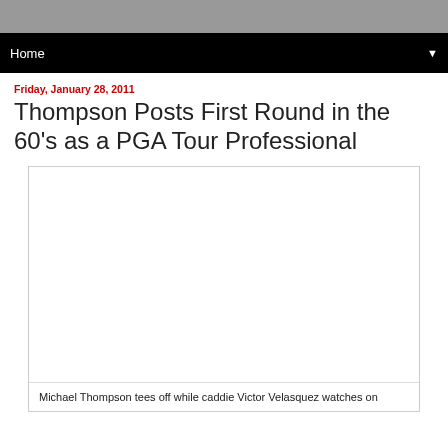Home
Friday, January 28, 2011
Thompson Posts First Round in the 60's as a PGA Tour Professional
[Figure (photo): Photo of Michael Thompson teeing off with caddie Victor Velasquez watching]
Michael Thompson tees off while caddie Victor Velasquez watches on